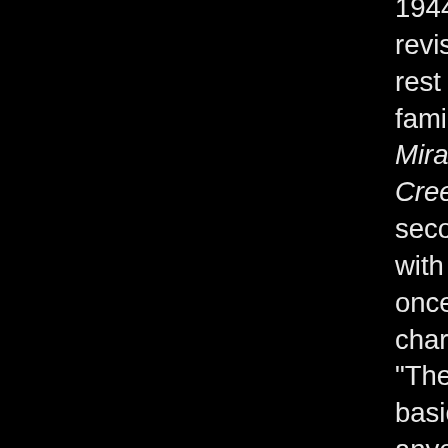1944 had Tamiroff revisit, as he did for the rest of his career, familiar parts. The Miracle of Morgan's Creek would be his second and final film with Preston Sturges, once again playing a character referred to as "The Boss." His part is basically an in-joke for anyone who had seen The Great McGinty. That film's star, Donlevy, also makes a cameo. '44 also showcased Tamiroff as Wu Lien in the yellow face epic The Dragon Seed. Walter